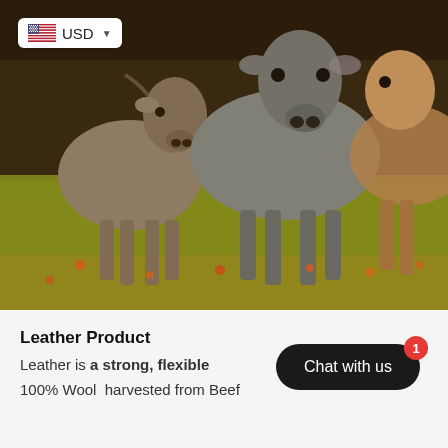[Figure (photo): Three cattle/cows standing in a field with golden-hour sunlight, green and orange wildflowers in the foreground, a fence visible in the background.]
[Figure (screenshot): USD currency selector overlay in top-left of image showing USA flag and USD text with dropdown arrow.]
Leather Product
Leather is a strong, flexible
100% Wool  harvested from Beef
[Figure (other): Chat with us button (dark pill-shaped button) with a red badge showing the number 1.]